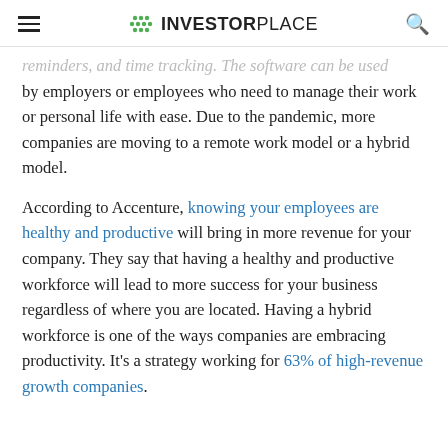INVESTORPLACE
reminders, and time tracking. The software can be used by employers or employees who need to manage their work or personal life with ease. Due to the pandemic, more companies are moving to a remote work model or a hybrid model.
According to Accenture, knowing your employees are healthy and productive will bring in more revenue for your company. They say that having a healthy and productive workforce will lead to more success for your business regardless of where you are located. Having a hybrid workforce is one of the ways companies are embracing productivity. It’s a strategy working for 63% of high-revenue growth companies.